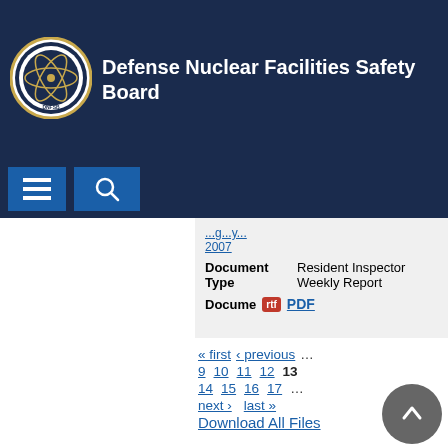Defense Nuclear Facilities Safety Board
[Figure (logo): DNFSB circular seal logo]
Document Type: Resident Inspector Weekly Report
Document: RTF  PDF
« first  ‹ previous  ...  9  10  11  12  13  14  15  16  17  ...  next ›  last »
Download All Files